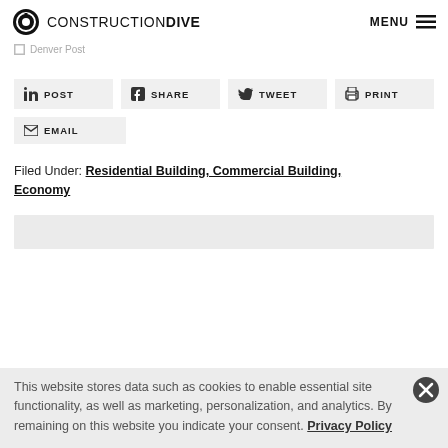CONSTRUCTION DIVE  MENU
Denver Post
[Figure (other): Social sharing buttons: POST (LinkedIn), SHARE (Facebook), TWEET (Twitter), PRINT, EMAIL]
Filed Under: Residential Building, Commercial Building, Economy
This website stores data such as cookies to enable essential site functionality, as well as marketing, personalization, and analytics. By remaining on this website you indicate your consent. Privacy Policy